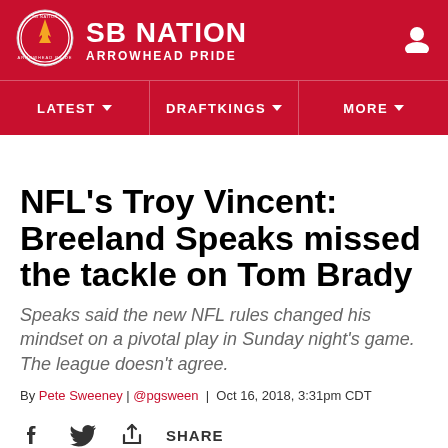SB NATION | ARROWHEAD PRIDE
[Figure (logo): SB Nation logo circle with rocket/arrow graphic]
NFL's Troy Vincent: Breeland Speaks missed the tackle on Tom Brady
Speaks said the new NFL rules changed his mindset on a pivotal play in Sunday night's game. The league doesn't agree.
By Pete Sweeney | @pgsween | Oct 16, 2018, 3:31pm CDT